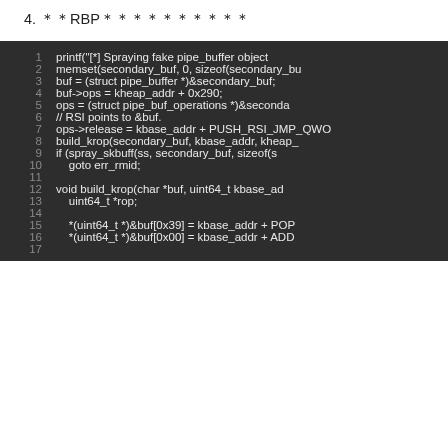4. ＊＊RBP＊＊＊＊＊＊＊＊＊＊
[Figure (screenshot): Code block on dark background showing C code for spraying fake pipe_buffer objects, setting up ops and krop chain. Lines 1-17 visible.]